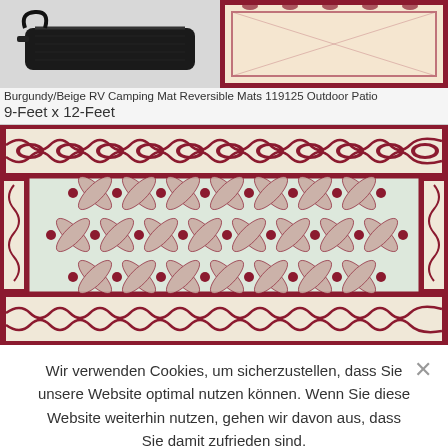[Figure (photo): Top strip showing a black carrying bag on the left and partial view of a burgundy/beige patterned rug on the right]
Burgundy/Beige RV Camping Mat Reversible Mats 119125 Outdoor Patio 9-Feet x 12-Feet
[Figure (photo): Main product photo of a Burgundy/Beige RV Camping Mat with decorative scroll border and diamond lattice pattern in the center]
Wir verwenden Cookies, um sicherzustellen, dass Sie unsere Website optimal nutzen können. Wenn Sie diese Website weiterhin nutzen, gehen wir davon aus, dass Sie damit zufrieden sind.
Annehmen   Nein   Datenschutz